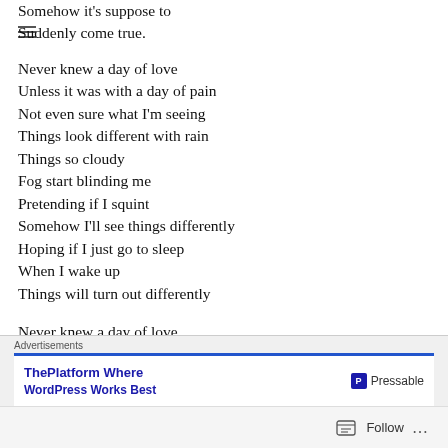Somehow it's suppose to
Suddenly come true.
Never knew a day of love
Unless it was with a day of pain
Not even sure what I'm seeing
Things look different with rain
Things so cloudy
Fog start blinding me
Pretending if I squint
Somehow I'll see things differently
Hoping if I just go to sleep
When I wake up
Things will turn out differently
Never knew a day of love
Unless it was with a day of pain
Advertisements
ThePlatform Where WordPress Works Best — Pressable